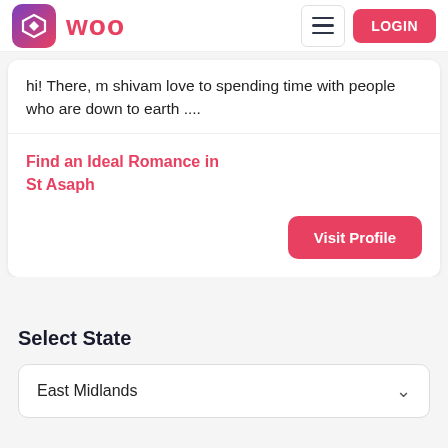[Figure (logo): Woo dating app logo with gradient icon and WOO text in pink/red, hamburger menu button, and LOGIN button in pink/red]
hi! There, m shivam love to spending time with people who are down to earth ....
Find an Ideal Romance in St Asaph
Visit Profile
Select State
East Midlands